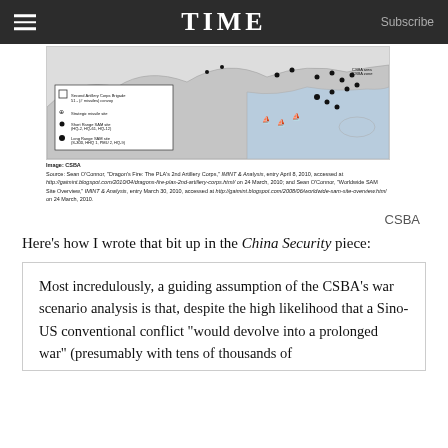TIME  Subscribe
[Figure (map): Military map showing PLA 2nd Artillery Corps positions and SAM sites in China/East Asia region, with legend indicating Second Artillery Corps Brigade, Strategic missile sites, Short Range SAM sites, and Long Range SAM sites.]
Image: CSBA
Source: Sean O'Connor, "Dragon's Fire: The PLA's 2nd Artillery Corps," IMINT & Analysis, entry April 8, 2010, accessed at http://gaimint.blogspot.com/2010/04/dragons-fire-plas-2nd-artillery-corps.html/ on 24 March, 2010; and Sean O'Connor, "Worldwide SAM Site Overview," IMINT & Analysis, entry March 30, 2010, accessed at http://gaimint.blogspot.com/2008/06/worldwide-sam-site-overview.html on 24 March, 2010.
CSBA
Here's how I wrote that bit up in the China Security piece:
Most incredulously, a guiding assumption of the CSBA's war scenario analysis is that, despite the high likelihood that a Sino-US conventional conflict "would devolve into a prolonged war" (presumably with tens of thousands of